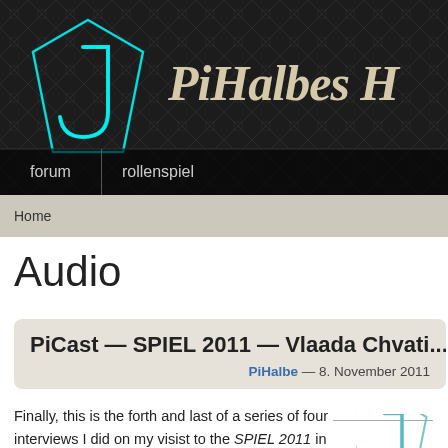[Figure (logo): PiHalbes website header with cyan neon J logo on dark patterned background and site name 'PiHalbes H...' in cream italic script]
forum   rollenspiel
Home
Audio
PiCast — SPIEL 2011 — Vlaada Chvati...
PiHalbe — 8. November 2011
Finally, this is the forth and last of a series of four interviews I did on my visist to the SPIEL 2011 in Essen. All of these shows have been done in English (since the Germans